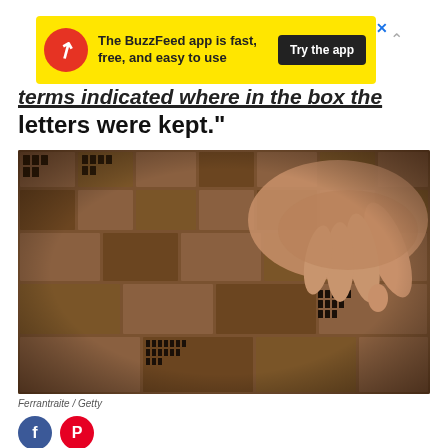[Figure (screenshot): BuzzFeed app advertisement banner with yellow background, red circular logo with upward arrow, text 'The BuzzFeed app is fast, free, and easy to use' and black 'Try the app' button]
terms indicated where in the box the letters were kept."
[Figure (photo): Close-up photo of a hand picking up metal letterpress type from a wooden typesetter's case with many compartments filled with movable type]
Ferrantraite / Getty
[Figure (screenshot): Pink pill-shaped button overlay reading 'Find more in the app!' with an X close button]